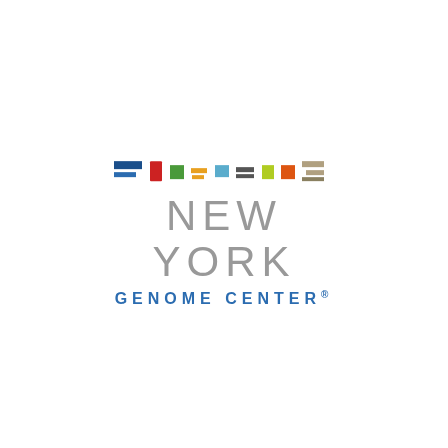[Figure (logo): New York Genome Center logo with colorful DNA bar motif above the text NEW YORK GENOME CENTER with registered trademark symbol]